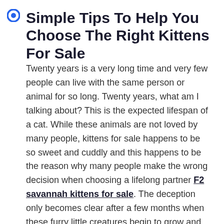Simple Tips To Help You Choose The Right Kittens For Sale
Twenty years is a very long time and very few people can live with the same person or animal for so long. Twenty years, what am I talking about? This is the expected lifespan of a cat. While these animals are not loved by many people, kittens for sale happens to be so sweet and cuddly and this happens to be the reason why many people make the wrong decision when choosing a lifelong partner F2 savannah kittens for sale. The deception only becomes clear after a few months when these furry little creatures begin to grow and their owners learn about their own little ways and personal behavior. Never be deceived by the way a kitten looks and some of the things you think about when